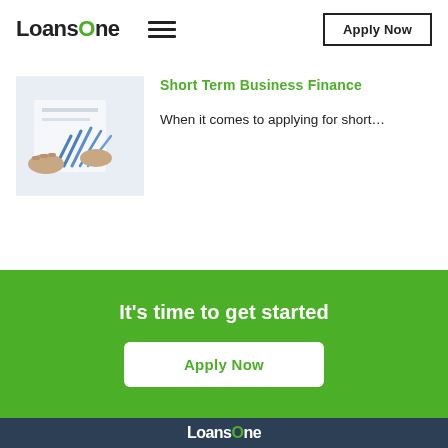LoansOne  ≡  Apply Now
[Figure (photo): Photo showing hands holding financial documents with blue bar chart lines visible]
Short Term Business Finance
When it comes to applying for short...
It's time to get started
Apply Now
LoansOne